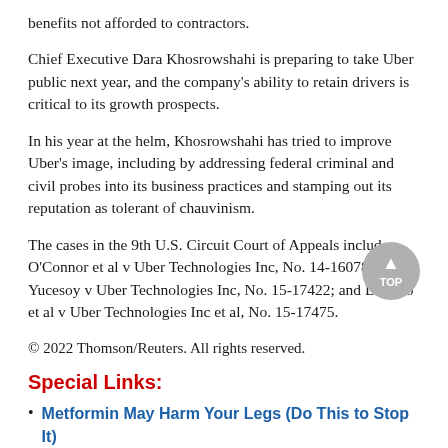benefits not afforded to contractors.
Chief Executive Dara Khosrowshahi is preparing to take Uber public next year, and the company's ability to retain drivers is critical to its growth prospects.
In his year at the helm, Khosrowshahi has tried to improve Uber's image, including by addressing federal criminal and civil probes into its business practices and stamping out its reputation as tolerant of chauvinism.
The cases in the 9th U.S. Circuit Court of Appeals include O'Connor et al v Uber Technologies Inc, No. 14-16078; Yucesoy v Uber Technologies Inc, No. 15-17422; and Del Rio et al v Uber Technologies Inc et al, No. 15-17475.
© 2022 Thomson/Reuters. All rights reserved.
Special Links:
Metformin May Harm Your Legs (Do This to Stop It)